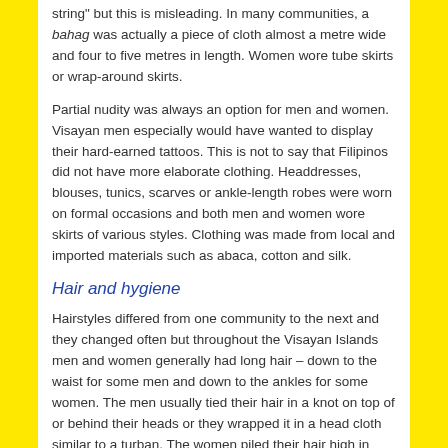string" but this is misleading. In many communities, a bahag was actually a piece of cloth almost a metre wide and four to five metres in length. Women wore tube skirts or wrap-around skirts.
Partial nudity was always an option for men and women. Visayan men especially would have wanted to display their hard-earned tattoos. This is not to say that Filipinos did not have more elaborate clothing. Headdresses, blouses, tunics, scarves or ankle-length robes were worn on formal occasions and both men and women wore skirts of various styles. Clothing was made from local and imported materials such as abaca, cotton and silk.
Hair and hygiene
Hairstyles differed from one community to the next and they changed often but throughout the Visayan Islands men and women generally had long hair – down to the waist for some men and down to the ankles for some women. The men usually tied their hair in a knot on top of or behind their heads or they wrapped it in a head cloth similar to a turban. The women piled their hair high in elaborate styles and used flowers and sesame seed oil to treat the hair and to give it an attractive scent. Hair